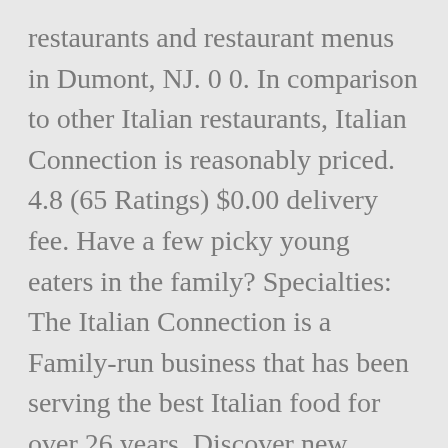restaurants and restaurant menus in Dumont, NJ. 0 0. In comparison to other Italian restaurants, Italian Connection is reasonably priced. 4.8 (65 Ratings) $0.00 delivery fee. Have a few picky young eaters in the family? Specialties: The Italian Connection is a Family-run business that has been serving the best Italian food for over 26 years. Discover new Dumont restaurants by cuisine, neighborhood, meal or menu. Outdoor seating is ready for diners on those warm summer days.Come in or stay home. Excellent philly cheese steak sandwiches. Italian Connection Dumont; Italian Connection, Dumont; Get Menu, Reviews, Contact,